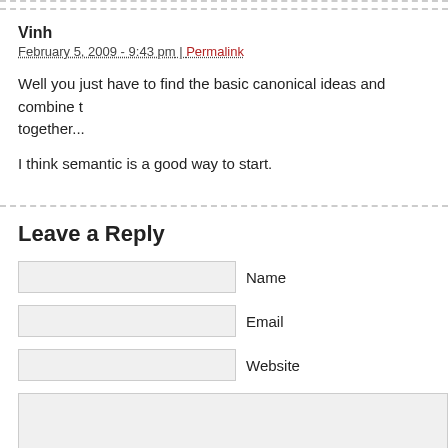Vinh
February 5, 2009 - 9:43 pm | Permalink
Well you just have to find the basic canonical ideas and combine them together...
I think semantic is a good way to start.
Leave a Reply
Name
Email
Website